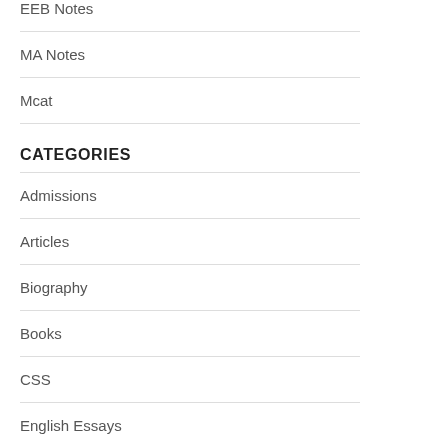EEB Notes
MA Notes
Mcat
CATEGORIES
Admissions
Articles
Biography
Books
CSS
English Essays
General Knowledge